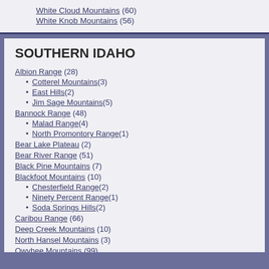White Cloud Mountains (60)
White Knob Mountains (56)
SOUTHERN IDAHO
Albion Range (28)
Cotterel Mountains (3)
East Hills (2)
Jim Sage Mountains (5)
Bannock Range (48)
Malad Range (4)
North Promontory Range (1)
Bear Lake Plateau (2)
Bear River Range (51)
Black Pine Mountains (7)
Blackfoot Mountains (10)
Chesterfield Range (2)
Ninety Percent Range (1)
Soda Springs Hills (2)
Caribou Range (66)
Deep Creek Mountains (10)
North Hansel Mountains (3)
Owyhee Mountains (99)
Silver City Range (22)
Peale Mountains (68)
Aspen Range (11)
Dry Ridge (3)